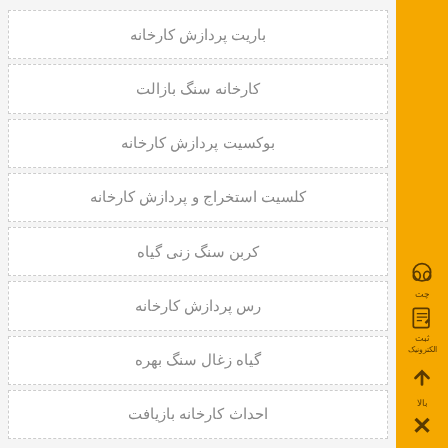باریت پردازش کارخانه
کارخانه سنگ بازالت
بوکسیت پردازش کارخانه
کلسیت استخراج و پردازش کارخانه
کربن سنگ زنی گیاه
رس پردازش کارخانه
گیاه زغال سنگ بهره
احداث کارخانه بازیافت